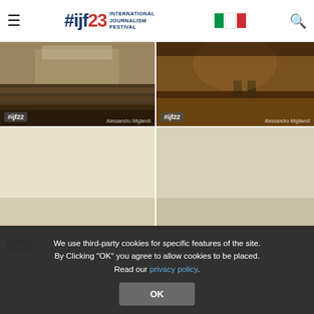#ijf23 INTERNATIONAL JOURNALISM FESTIVAL
[Figure (photo): Conference hall with audience seated, presentation stage with banner in background, labeled #ijf22, credit Alessandro Migliondi]
[Figure (photo): Dark stage with two people seated for interview, large wooden-floored hall, labeled #ijf22, credit Alessandro Migliondi]
[Figure (photo): Empty or light image placeholder with #ijf22 tag]
[Figure (photo): Empty or light image placeholder with #ijf22 tag]
We use third-party cookies for specific features of the site. By Clicking "OK" you agree to allow cookies to be placed. Read our privacy policy.